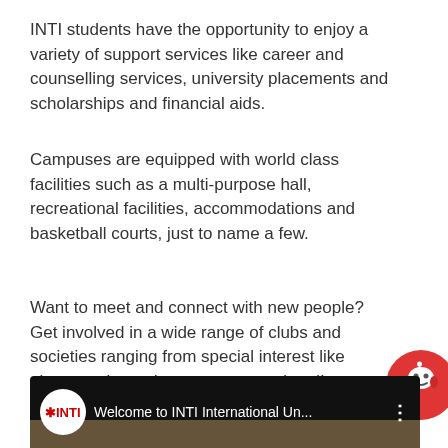INTI students have the opportunity to enjoy a variety of support services like career and counselling services, university placements and scholarships and financial aids.
Campuses are equipped with world class facilities such as a multi-purpose hall, recreational facilities, accommodations and basketball courts, just to name a few.
Want to meet and connect with new people? Get involved in a wide range of clubs and societies ranging from special interest like photography and astronomy to cultural!
[Figure (screenshot): YouTube video thumbnail showing INTI logo (white circle with red asterisk and INTI text) and video title 'Welcome to INTI International Un...' with three-dot menu icon on dark background]